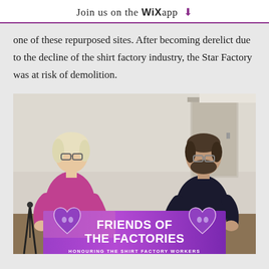Join us on the WiX app ⬇
one of these repurposed sites. After becoming derelict due to the decline of the shirt factory industry, the Star Factory was at risk of demolition.
[Figure (photo): Two people holding a large purple banner reading 'FRIENDS OF THE FACTORIES – HONOURING THE SHIRT FACTORY WORKERS'. A woman in a pink/magenta turtleneck stands on the left; a man in a dark turtleneck stands on the right. They are indoors in a room with white walls and a door visible in the background.]